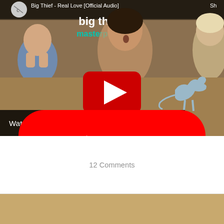[Figure (screenshot): YouTube video thumbnail for 'Big Thief - Real Love [Official Audio]' showing children and a budgerigar on carpet with a dinosaur toy, with a red play button overlay. Text overlays show 'big thief' and 'masterpiece'. A 'Watch on YouTube' bar appears at the bottom left.]
12 Comments
[Figure (other): Golden/tan colored footer bar at the bottom of the page]